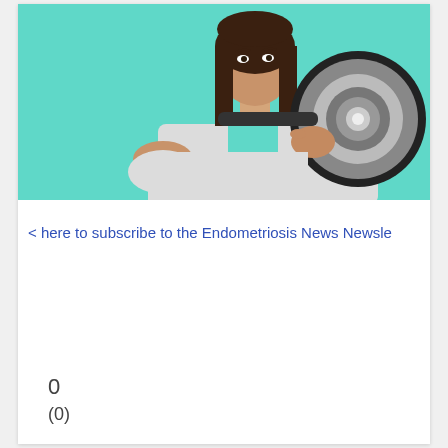[Figure (photo): A woman in a white shirt holding a megaphone up to her face, pointing with her other hand, against a teal/turquoise background.]
< here to subscribe to the Endometriosis News Newsle
0
(0)